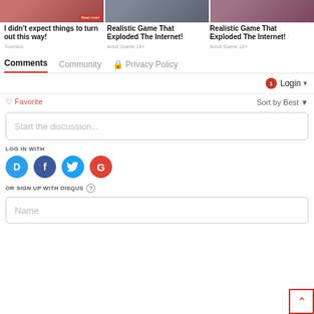[Figure (screenshot): Three promotional image thumbnails at top of page]
I didn't expect things to turn out this way!
Toomics
Realistic Game That Exploded The Internet!
Adult Game 18+
Realistic Game That Exploded The Internet!
Adult Game 18+
Comments	Community	🔒 Privacy Policy
1  Login ▾
♡ Favorite
Sort by Best ▾
Start the discussion...
LOG IN WITH
[Figure (logo): Social login icons: Disqus (D), Facebook (f), Twitter (bird), Google (G)]
OR SIGN UP WITH DISQUS ?
Name